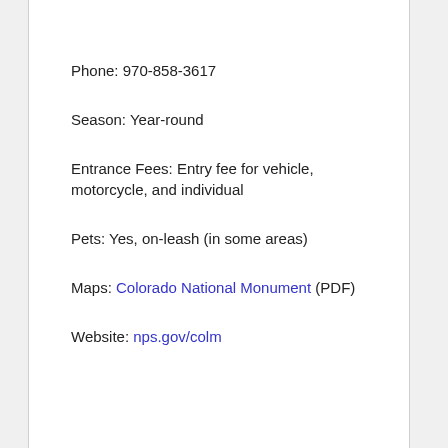Phone: 970-858-3617
Season: Year-round
Entrance Fees: Entry fee for vehicle, motorcycle, and individual
Pets: Yes, on-leash (in some areas)
Maps: Colorado National Monument (PDF)
Website: nps.gov/colm